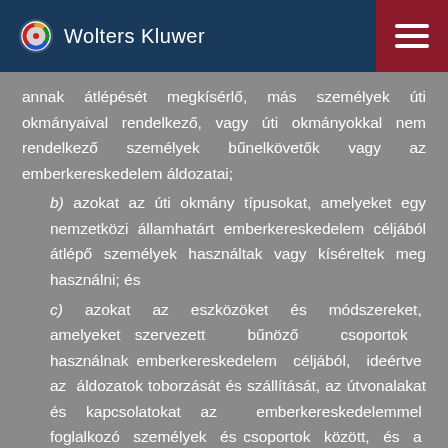Wolters Kluwer
annak átlépését megkísérlő, más személyek úti okmányaival rendelkező, vagy úti okmányokkal nem rendelkező személyek bűnelkövetők vagy az emberkereskedelem áldozatai;
b) azokat az úti okmány típusokat, amelyeket egy nemzetközi államhatárt emberkereskedelem céljából átlépő személyek használtak vagy kíséreltek meg használni; és
c) azokat az eszközöket és módszereket, amelyeket szervezett bűnöző csoportok használnak emberkereskedelem céljából, ideértve az áldozatok toborzását és szállítását, az útvonalakat és kapcsolatokat az emberkereskedelemmel foglalkozó személyek és csoportok között, és a felderítésükre alkalmazható